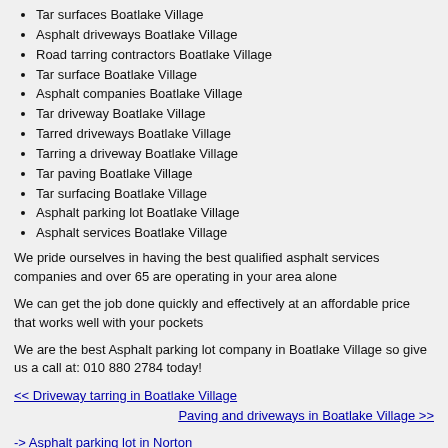Tar surfaces Boatlake Village
Asphalt driveways Boatlake Village
Road tarring contractors Boatlake Village
Tar surface Boatlake Village
Asphalt companies Boatlake Village
Tar driveway Boatlake Village
Tarred driveways Boatlake Village
Tarring a driveway Boatlake Village
Tar paving Boatlake Village
Tar surfacing Boatlake Village
Asphalt parking lot Boatlake Village
Asphalt services Boatlake Village
We pride ourselves in having the best qualified asphalt services companies and over 65 are operating in your area alone
We can get the job done quickly and effectively at an affordable price that works well with your pockets
We are the best Asphalt parking lot company in Boatlake Village so give us a call at: 010 880 2784 today!
<< Driveway tarring in Boatlake Village
Paving and driveways in Boatlake Village >>
-> Asphalt parking lot in Norton
-> Asphalt parking lot in Hazeldean
-> Asphalt parking lot in Dunnottar